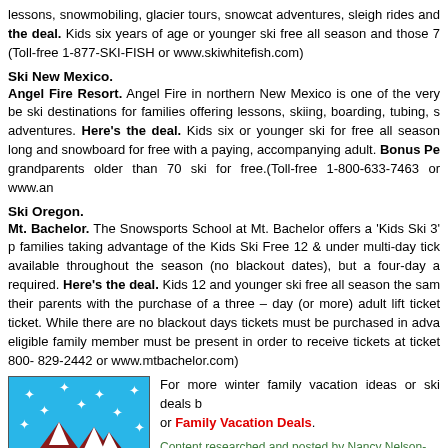lessons, snowmobiling, glacier tours, snowcat adventures, sleigh rides and the deal. Kids six years of age or younger ski free all season and those 7 (Toll-free 1-877-SKI-FISH or www.skiwhitefish.com)
Ski New Mexico.
Angel Fire Resort. Angel Fire in northern New Mexico is one of the very be ski destinations for families offering lessons, skiing, boarding, tubing, s adventures. Here's the deal. Kids six or younger ski for free all season long and snowboard for free with a paying, accompanying adult. Bonus Pe grandparents older than 70 ski for free.(Toll-free 1-800-633-7463 or www.an
Ski Oregon.
Mt. Bachelor. The Snowsports School at Mt. Bachelor offers a 'Kids Ski 3' p families taking advantage of the Kids Ski Free 12 & under multi-day tick available throughout the season (no blackout dates), but a four-day a required. Here's the deal. Kids 12 and younger ski free all season the sam their parents with the purchase of a three – day (or more) adult lift ticket ticket. While there are no blackout days tickets must be purchased in adva eligible family member must be present in order to receive tickets at ticket 800- 829-2442 or www.mtbachelor.com)
[Figure (logo): Snow Places logo with mountains and snowflakes on blue background]
For more winter family vacation ideas or ski deals b or Family Vacation Deals.
Content researched and posted by Nancy Nelson-Duac, Cu the Family Travel Files. Kids Ski School image courtesy A Copyright updated 2016.
+ Share | Facebook | Google+ | Twitter